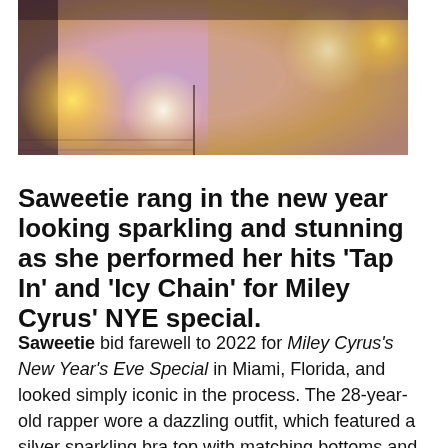[Figure (photo): Photo of a performer (Saweetie) on stage in a sparkling outfit with stage lights visible in the background. The image shows warm golden and purple stage lighting.]
Saweetie rang in the new year looking sparkling and stunning as she performed her hits ‘Tap In’ and ‘Icy Chain’ for Miley Cyrus’ NYE special.
Saweetie bid farewell to 2022 for Miley Cyrus's New Year's Eve Special in Miami, Florida, and looked simply iconic in the process. The 28-year-old rapper wore a dazzling outfit, which featured a silver sparkling bra top with matching bottoms and paired the look with silver heels. The dress had lime green mesh material, covering the lower half of her body but definitely still revealing her absolutely flawless figure! Saweetie performed her epic hit “Tap In” and showed off her gorgeous new blonde